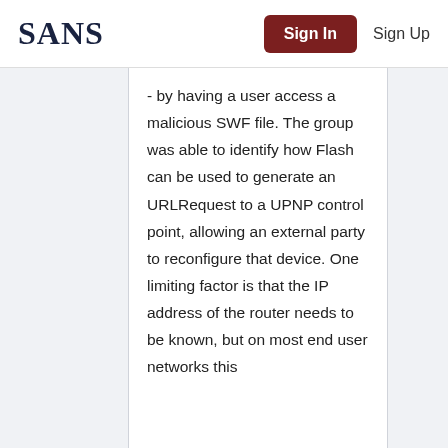SANS  Sign In  Sign Up
- by having a user access a malicious SWF file. The group was able to identify how Flash can be used to generate an URLRequest to a UPNP control point, allowing an external party to reconfigure that device. One limiting factor is that the IP address of the router needs to be known, but on most end user networks this